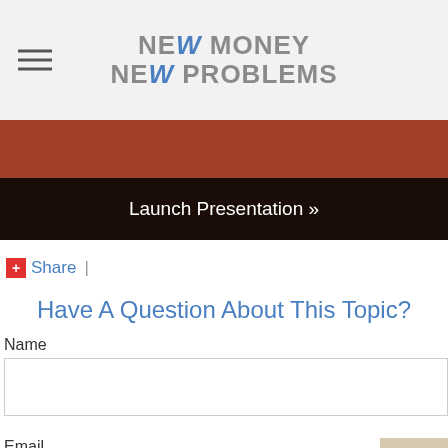NEW MONEY NEW PROBLEMS
[Figure (other): Rust/brown decorative bar]
Launch Presentation »
+ Share |
Have A Question About This Topic?
Name
Email